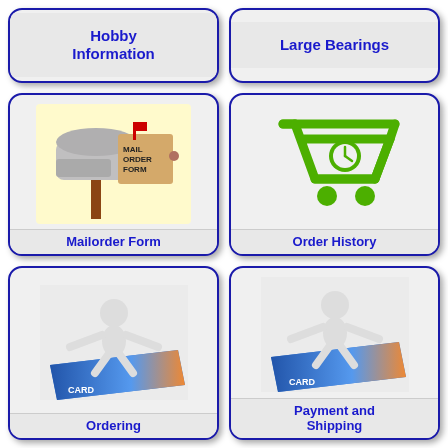[Figure (illustration): Navigation card button with text: Hobby Information]
[Figure (illustration): Navigation card button with text: Large Bearings]
[Figure (illustration): Navigation card with mailbox and mail order form image, labeled: Mailorder Form]
[Figure (illustration): Navigation card with green shopping cart icon, labeled: Order History]
[Figure (illustration): Navigation card with 3D figure standing on credit card, labeled: Ordering]
[Figure (illustration): Navigation card with 3D figure standing on credit card, labeled: Payment and Shipping]